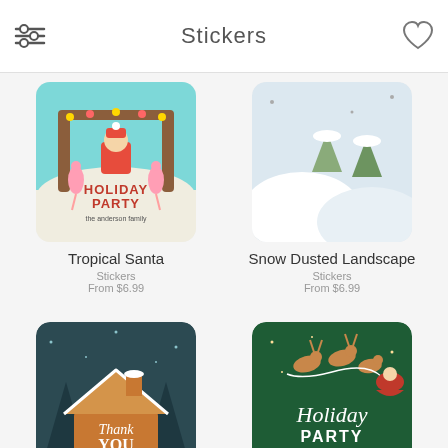Stickers
[Figure (illustration): Tropical Santa holiday party sticker - tropical scene with Santa, flamingos, and text 'HOLIDAY PARTY the anderson family' on teal/cream background]
Tropical Santa
Stickers
From $6.99
[Figure (illustration): Snow Dusted Landscape sticker - placeholder, not fully visible]
Snow Dusted Landscape
Stickers
From $6.99
[Figure (illustration): Gingerbread Home thank you sticker - dark teal night scene with gingerbread house and 'Thank YOU' text, 'The Howards' in orange script]
Gingerbread Home
Stickers
[Figure (illustration): Reindeer Party holiday sticker - dark green background with Santa's sleigh and reindeer, 'Holiday Party THE ANDERSON FAMILY' text]
Reindeer Party
Stickers